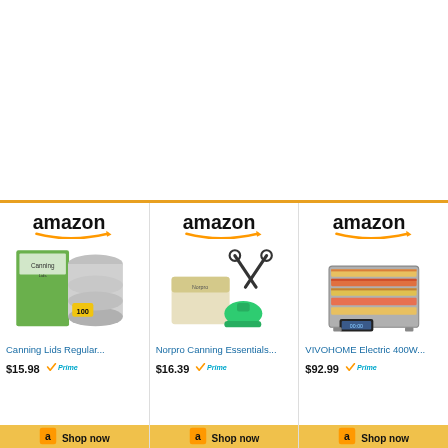[Figure (screenshot): Amazon product advertisement row showing three products: Canning Lids Regular... at $15.98 with Prime, Norpro Canning Essentials... at $16.39 with Prime, and VIVOHOME Electric 400W... at $92.99 with Prime. Each card has the Amazon logo, product image, title, price, Prime badge, and a Shop now button.]